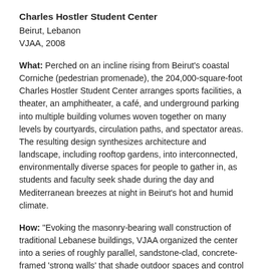Charles Hostler Student Center
Beirut, Lebanon
VJAA, 2008
What: Perched on an incline rising from Beirut's coastal Corniche (pedestrian promenade), the 204,000-square-foot Charles Hostler Student Center arranges sports facilities, a theater, an amphitheater, a café, and underground parking into multiple building volumes woven together on many levels by courtyards, circulation paths, and spectator areas. The resulting design synthesizes architecture and landscape, including rooftop gardens, into interconnected, environmentally diverse spaces for people to gather in, as students and faculty seek shade during the day and Mediterranean breezes at night in Beirut's hot and humid climate.
How: “Evoking the masonry-bearing wall construction of traditional Lebanese buildings, VJAA organized the center into a series of roughly parallel, sandstone-clad, concrete-framed ‘strong walls’ that shade outdoor spaces and control temperature swings inside the buildings,” wrote Thomas Fisher, Assoc. AIA, in our November/December 2008 issue. “The walls play a part in a series of sustainability strategies, including rooftop solar collectors to heat water for the pool and showers, radiant and displacement cooling, operable